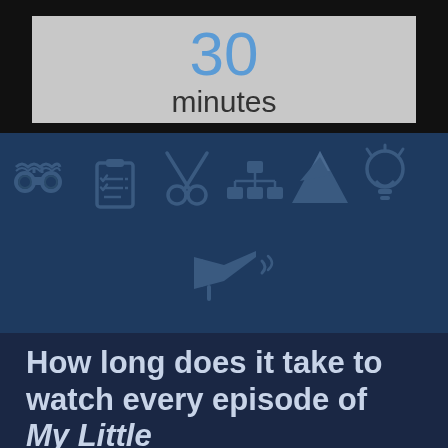30 minutes
[Figure (infographic): Row of dark blue icons: binoculars, clipboard with checklist, scissors, org chart/hierarchy, mountain, lightbulb, birthday cake (top row); megaphone/bullhorn (bottom center)]
How long does it take to watch every episode of My Little